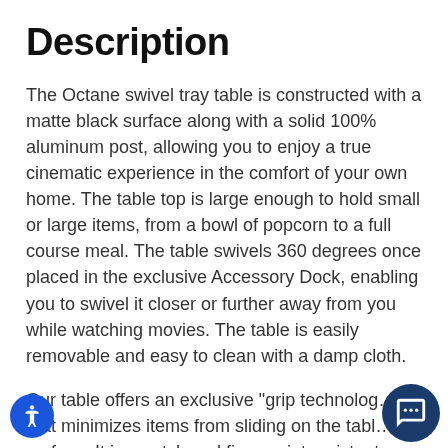Description
The Octane swivel tray table is constructed with a matte black surface along with a solid 100% aluminum post, allowing you to enjoy a true cinematic experience in the comfort of your own home. The table top is large enough to hold small or large items, from a bowl of popcorn to a full course meal. The table swivels 360 degrees once placed in the exclusive Accessory Dock, enabling you to swivel it closer or further away from you while watching movies. The table is easily removable and easy to clean with a damp cloth.
Our table offers an exclusive "grip technology" that minimizes items from sliding on the table surface. It is scratch and fingerprint resistant.